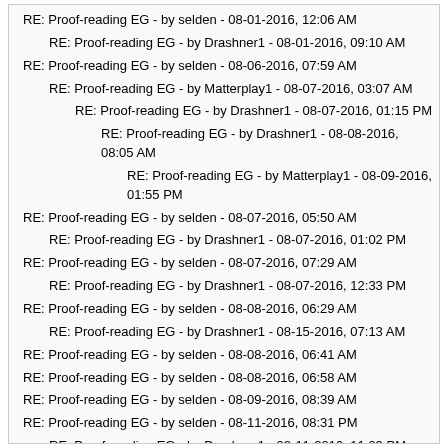RE: Proof-reading EG - by selden - 08-01-2016, 12:06 AM
RE: Proof-reading EG - by Drashner1 - 08-01-2016, 09:10 AM
RE: Proof-reading EG - by selden - 08-06-2016, 07:59 AM
RE: Proof-reading EG - by Matterplay1 - 08-07-2016, 03:07 AM
RE: Proof-reading EG - by Drashner1 - 08-07-2016, 01:15 PM
RE: Proof-reading EG - by Drashner1 - 08-08-2016, 08:05 AM
RE: Proof-reading EG - by Matterplay1 - 08-09-2016, 01:55 PM
RE: Proof-reading EG - by selden - 08-07-2016, 05:50 AM
RE: Proof-reading EG - by Drashner1 - 08-07-2016, 01:02 PM
RE: Proof-reading EG - by selden - 08-07-2016, 07:29 AM
RE: Proof-reading EG - by Drashner1 - 08-07-2016, 12:33 PM
RE: Proof-reading EG - by selden - 08-08-2016, 06:29 AM
RE: Proof-reading EG - by Drashner1 - 08-15-2016, 07:13 AM
RE: Proof-reading EG - by selden - 08-08-2016, 06:41 AM
RE: Proof-reading EG - by selden - 08-08-2016, 06:58 AM
RE: Proof-reading EG - by selden - 08-09-2016, 08:39 AM
RE: Proof-reading EG - by selden - 08-11-2016, 08:31 PM
RE: Proof-reading EG - by Drashner1 - 08-11-2016, 11:03 PM
RE: Proof-reading EG - by selden - 08-11-2016, 11:35 PM
RE: Proof-reading EG - by Drashner1 - 08-15-2016, 08:02 AM
RE: Proof-reading EG - by stevebowers - 08-13-2016, 02:03 AM
RE: Proof-reading EG - by selden - 08-14-2016, 09:56 PM
RE: Proof-reading EG - by Matterplay1 - 08-15-2016, 07:42 AM